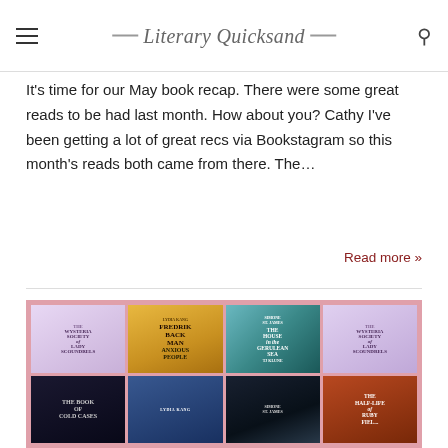Literary Quicksand
It's time for our May book recap. There were some great reads to be had last month. How about you? Cathy I've been getting a lot of great recs via Bookstagram so this month's reads both came from there. The…
Read more »
[Figure (photo): A flat-lay collage of book covers arranged on a pink background, including titles: The Wisteria Society of Lady Scoundrels, Anxious People by Fredrik Backman, The House in the Cerulean Sea by TJ Klune, The Book of Cold Cases, a book by Lydia Kang, a book by Simone St. James, The Half-Life of Ruby Fielding, and others partially visible.]